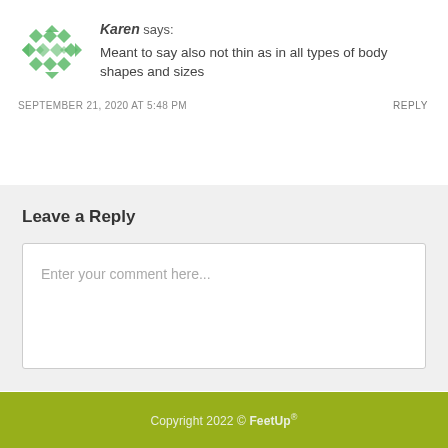[Figure (logo): Green diamond/rhombus pattern avatar icon for user Karen]
Karen says: Meant to say also not thin as in all types of body shapes and sizes
SEPTEMBER 21, 2020 AT 5:48 PM    REPLY
Leave a Reply
Enter your comment here...
Copyright 2022 © FeetUp®